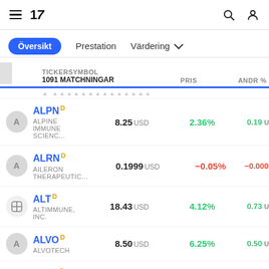TradingView - navigation header with hamburger menu, logo, search and user icons
Översikt | Prestation | Värdering
| TICKERSYMBOL / 1091 MATCHNINGAR | PRIS | ANDR % | ANDR |
| --- | --- | --- | --- |
| ALPN D / ALPINE IMMUNE SCIENC... | 8.25 USD | 2.36% | 0.19 U |
| ALRN D / AILERON THERAPEUTIC... | 0.1999 USD | -0.05% | -0.0001 U |
| ALT D / ALTIMMUNE, INC. | 18.43 USD | 4.12% | 0.73 U |
| ALVO D / ALVOTECH | 8.50 USD | 6.25% | 0.50 U |
| ALVR D / ALLOVIR, INC. | 7.70 USD | 7.09% | 0.51 U |
| ALZN D | 0.9454 USD | -2.54% | -0.0246 |